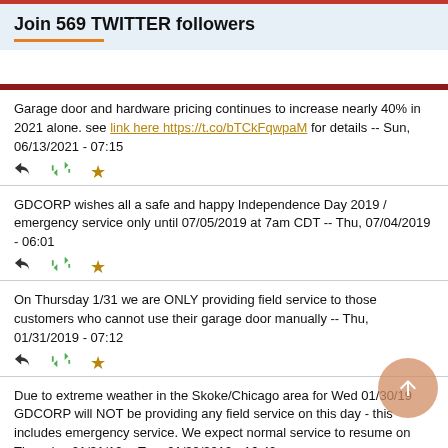Join 569 TWITTER followers
Garage door and hardware pricing continues to increase nearly 40% in 2021 alone. see link here https://t.co/bTCkFqwpaM for details -- Sun, 06/13/2021 - 07:15
GDCORP wishes all a safe and happy Independence Day 2019 / emergency service only until 07/05/2019 at 7am CDT -- Thu, 07/04/2019 - 06:01
On Thursday 1/31 we are ONLY providing field service to those customers who cannot use their garage door manually -- Thu, 01/31/2019 - 07:12
Due to extreme weather in the Skoke/Chicago area for Wed 01/30/19 GDCORP will NOT be providing any field service on this day - this includes emergency service. We expect normal service to resume on Thursday 01/31/19 -- Tue, 01/29/2019 - 16:40
GDCORP wishes all a safe and happy Labor Day 2018 / emergency service only